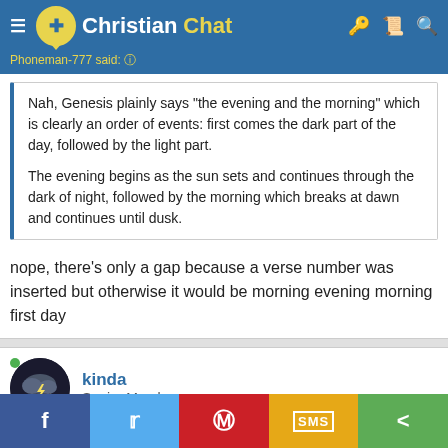Christian Chat — header navigation bar
Phoneman-777 said: ⓘ
Nah, Genesis plainly says "the evening and the morning" which is clearly an order of events: first comes the dark part of the day, followed by the light part.

The evening begins as the sun sets and continues through the dark of night, followed by the morning which breaks at dawn and continues until dusk.
nope, there's only a gap because a verse number was inserted but otherwise it would be morning evening morning first day
kinda
Senior Member
Social share bar: Facebook, Twitter, Pinterest, SMS, Share